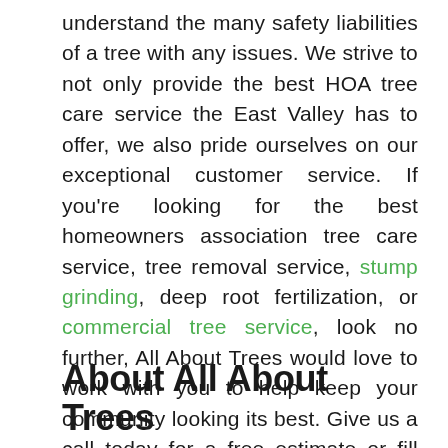understand the many safety liabilities of a tree with any issues. We strive to not only provide the best HOA tree care service the East Valley has to offer, we also pride ourselves on our exceptional customer service. If you're looking for the best homeowners association tree care service, tree removal service, stump grinding, deep root fertilization, or commercial tree service, look no further, All About Trees would love to work with you to help keep your community looking its best. Give us a call today for a free estimate or fill out one of our quote forms. We look forward to working with you! After all healthy and beautiful trees are our passion!
About All About Trees